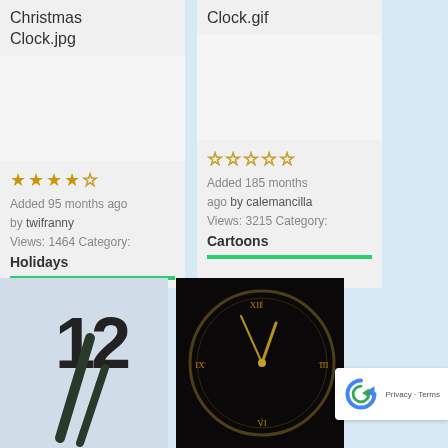Christmas Clock.jpg
[Figure (photo): White/grey card placeholder area for Christmas Clock.jpg]
★★★★☆ Added 95 months ago by twifranny Views: 1464 Category: Holidays
Clock.gif
[Figure (photo): White/grey card placeholder area for Clock.gif]
☆☆☆☆☆ Added 185 months ago by calemancilla Views: 3215 Category: Cartoons
[Figure (photo): Close-up photo of clock face showing number 12 and clock hands, blue-white tones]
[Figure (photo): Dark clock face with golden Roman numerals and hands on black background]